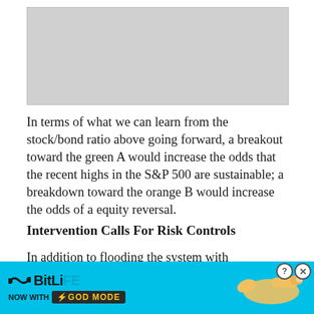[Figure (other): Gray rectangular image placeholder at the top of the page, likely a stock/bond ratio chart]
In terms of what we can learn from the stock/bond ratio above going forward, a breakout toward the green A would increase the odds that the recent highs in the S&P 500 are sustainable; a breakdown toward the orange B would increase the odds of a equity reversal.
Intervention Calls For Risk Controls
In addition to flooding the system with greenbacks, the Fed’s ongoing low interest rate policy distorts financial markets by forcing investors to gravitate toward riskier assets in search of returns. Distorted markets call for tighter risk management tools. Investors [it is pru[de] [ta]ble